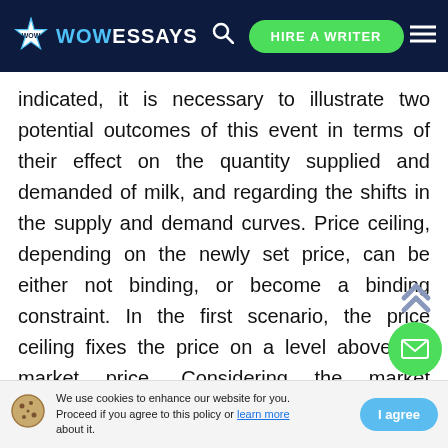WOW ESSAYS — HIRE A WRITER
indicated, it is necessary to illustrate two potential outcomes of this event in terms of their effect on the quantity supplied and demanded of milk, and regarding the shifts in the supply and demand curves. Price ceiling, depending on the newly set price, can be either not binding, or become a binding constraint. In the first scenario, the price ceiling fixes the price on a level above the market price. Considering the market equilibrium concept discussed earlier, this scenario will not majorly affect the market situation. Consequently,
We use cookies to enhance our website for you. Proceed if you agree to this policy or learn more about it. I agree